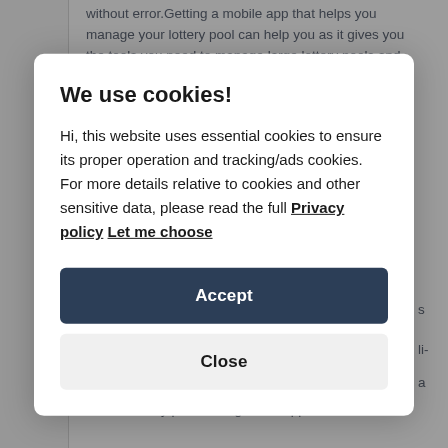without error.Getting a mobile app that helps you manage your lottery pool can help you as it gives you the tools you need to manage large lottery pools and liberate yourself from human error and tedious
made simple. You may wonder, "How is that so?" Here's a look at some of the features you should look for in a lottery pool management app:
[Figure (screenshot): Cookie consent modal dialog with title 'We use cookies!', body text about essential cookies and tracking/ads cookies with links to 'Privacy policy' and 'Let me choose', an 'Accept' button in dark navy, and a 'Close' button in light grey.]